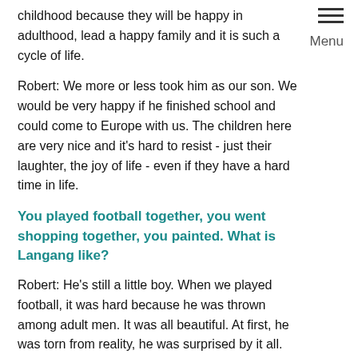childhood because they will be happy in adulthood, lead a happy family and it is such a cycle of life.
Menu
Robert: We more or less took him as our son. We would be very happy if he finished school and could come to Europe with us. The children here are very nice and it's hard to resist - just their laughter, the joy of life - even if they have a hard time in life.
You played football together, you went shopping together, you painted. What is Langang like?
Robert: He's still a little boy. When we played football, it was hard because he was thrown among adult men. It was all beautiful. At first, he was torn from reality, he was surprised by it all. But the next day we got very close, he already took us as friends. And it was hard to say goodbye to him when he had to leave. I hope to see him again someday.
Langang had come a long way, and it was his first